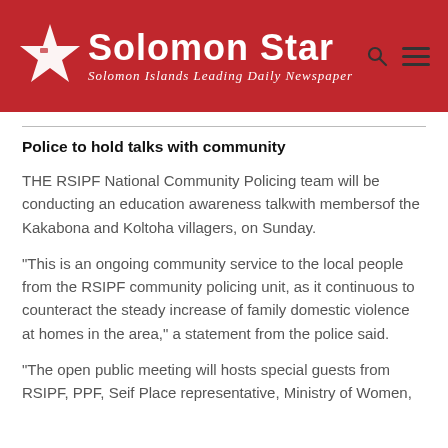[Figure (logo): Solomon Star newspaper logo with red background, star icon, title 'Solomon Star', subtitle 'Solomon Islands Leading Daily Newspaper', search and menu icons]
Police to hold talks with community
THE RSIPF National Community Policing team will be conducting an education awareness talkwith membersof the Kakabona and Koltoha villagers, on Sunday.
“This is an ongoing community service to the local people from the RSIPF community policing unit, as it continuous to counteract the steady increase of family domestic violence at homes in the area,” a statement from the police said.
“The open public meeting will hosts special guests from RSIPF, PPF, Seif Place representative, Ministry of Women,